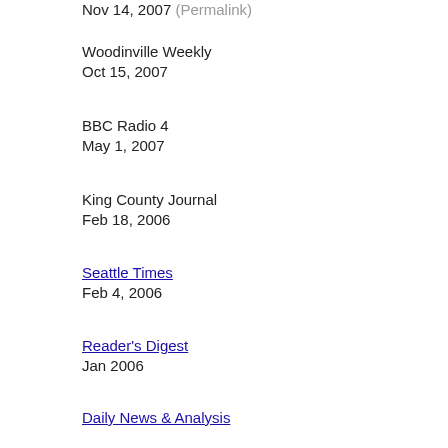Nov 14, 2007 (Permalink)
Woodinville Weekly
Oct 15, 2007
BBC Radio 4
May 1, 2007
King County Journal
Feb 18, 2006
Seattle Times
Feb 4, 2006
Reader's Digest
Jan 2006
Daily News & Analysis
(India)
Dec 25, 2005 (Permalink)
VOA News
Nov 15, 2005 (Permalink)
Seattle Times
Sep 30, 2005 (Permalink)
Woodinville Weekly
Sep 5, 2005